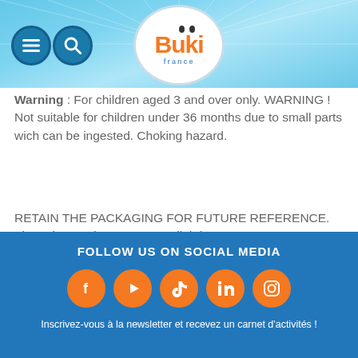[Figure (logo): Buki France logo with orange text on white circular background, with menu and search icon buttons on blue header]
Warning : For children aged 3 and over only. WARNING ! Not suitable for children under 36 months due to small parts wich can be ingested. Choking hazard.
RETAIN THE PACKAGING FOR FUTURE REFERENCE. The colors and content may slightly vary.
FOLLOW US ON SOCIAL MEDIA
Inscrivez-vous à la newsletter et recevez un carnet d'activités !